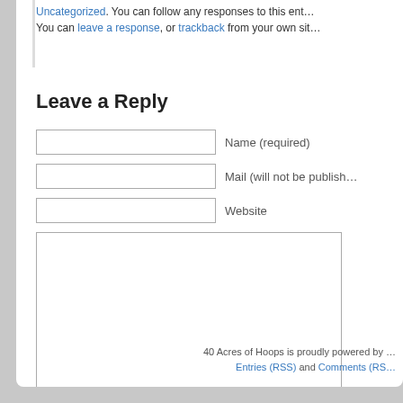Uncategorized. You can follow any responses to this ent… You can leave a response, or trackback from your own sit…
Leave a Reply
Name (required)
Mail (will not be publish…
Website
40 Acres of Hoops is proudly powered by … Entries (RSS) and Comments (RS…